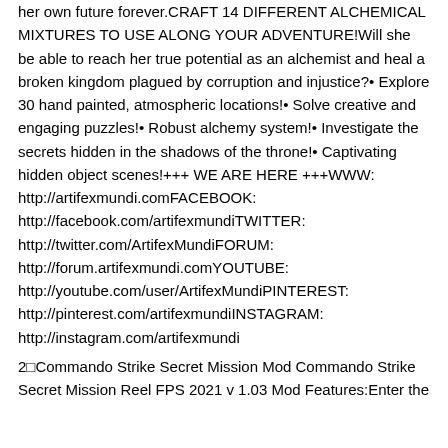her own future forever.CRAFT 14 DIFFERENT ALCHEMICAL MIXTURES TO USE ALONG YOUR ADVENTURE!Will she be able to reach her true potential as an alchemist and heal a broken kingdom plagued by corruption and injustice?• Explore 30 hand painted, atmospheric locations!• Solve creative and engaging puzzles!• Robust alchemy system!• Investigate the secrets hidden in the shadows of the throne!• Captivating hidden object scenes!+++ WE ARE HERE +++WWW: http://artifexmundi.comFACEBOOK: http://facebook.com/artifexmundiTWITTER: http://twitter.com/ArtifexMundiFORUM: http://forum.artifexmundi.comYOUTUBE: http://youtube.com/user/ArtifexMundiPINTEREST: http://pinterest.com/artifexmundiINSTAGRAM: http://instagram.com/artifexmundi
2⊡Commando Strike Secret Mission Mod Commando Strike Secret Mission Reel FPS 2021 v 1.03 Mod Features:Enter the